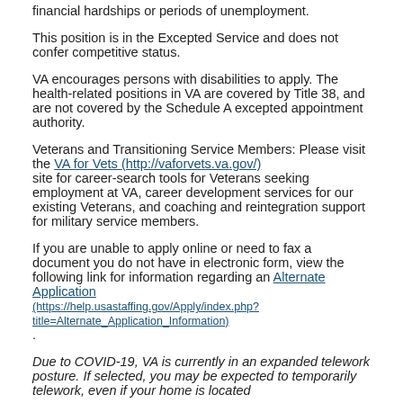financial hardships or periods of unemployment.
This position is in the Excepted Service and does not confer competitive status.
VA encourages persons with disabilities to apply. The health-related positions in VA are covered by Title 38, and are not covered by the Schedule A excepted appointment authority.
Veterans and Transitioning Service Members: Please visit the VA for Vets (http://vaforvets.va.gov/) site for career-search tools for Veterans seeking employment at VA, career development services for our existing Veterans, and coaching and reintegration support for military service members.
If you are unable to apply online or need to fax a document you do not have in electronic form, view the following link for information regarding an Alternate Application (https://help.usastaffing.gov/Apply/index.php?title=Alternate_Application_Information) .
Due to COVID-19, VA is currently in an expanded telework posture. If selected, you may be expected to temporarily telework, even if your home is located outside the local commute area. Once pandemic conditions permit, you to...